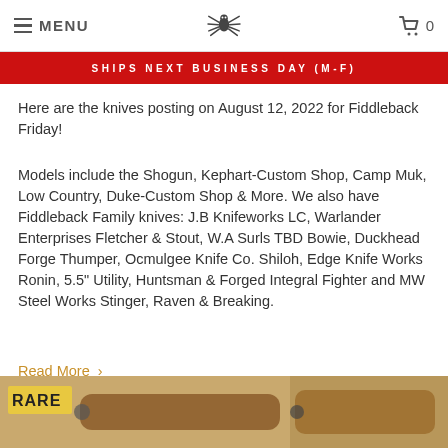MENU | [spider logo] | 0
SHIPS NEXT BUSINESS DAY (M-F)
Here are the knives posting on August 12, 2022 for Fiddleback Friday!
Models include the Shogun, Kephart-Custom Shop, Camp Muk, Low Country, Duke-Custom Shop & More. We also have Fiddleback Family knives: J.B Knifeworks LC, Warlander Enterprises Fletcher & Stout, W.A Surls TBD Bowie, Duckhead Forge Thumper, Ocmulgee Knife Co. Shiloh, Edge Knife Works Ronin, 5.5" Utility, Huntsman & Forged Integral Fighter and MW Steel Works Stinger, Raven & Breaking.
Read More >
[Figure (photo): Partial image of knives with a 'RARE' tag label visible, wooden handles, at the bottom of the page.]